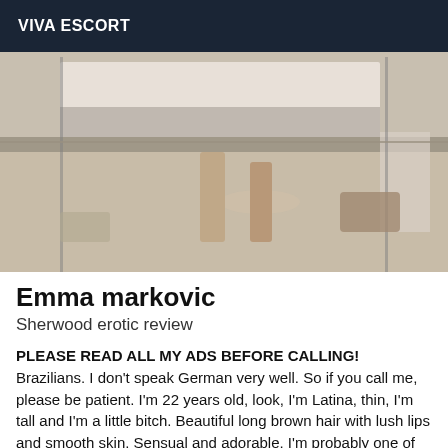VIVA ESCORT
[Figure (photo): Photo of a person lying on a bed wearing black lingerie and high heels, with shoes scattered on the floor nearby]
Emma markovic
Sherwood erotic review
PLEASE READ ALL MY ADS BEFORE CALLING! Brazilians. I don't speak German very well. So if you call me, please be patient. I'm 22 years old, look, I'm Latina, thin, I'm tall and I'm a little bitch. Beautiful long brown hair with lush lips and smooth skin. Sensual and adorable, I'm probably one of the most passable crossings you'll ever meet. What you are seeing is a